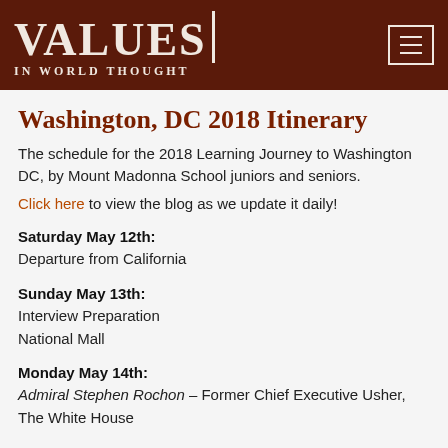VALUES IN WORLD THOUGHT
Washington, DC 2018 Itinerary
The schedule for the 2018 Learning Journey to Washington DC, by Mount Madonna School juniors and seniors. Click here to view the blog as we update it daily!
Saturday May 12th:
Departure from California
Sunday May 13th:
Interview Preparation
National Mall
Monday May 14th:
Admiral Stephen Rochon – Former Chief Executive Usher, The White House